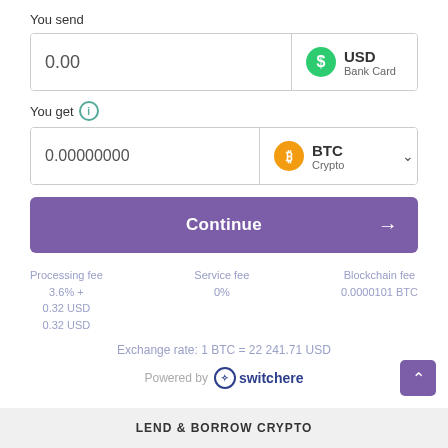You send
0.00 | USD Bank Card
You get
0.00000000 | BTC Crypto
Continue →
Processing fee
3.6% +
0.32 USD
0.32 USD
Service fee
0%
Blockchain fee
0.0000101 BTC
Exchange rate: 1 BTC = 22 241.71 USD
Powered by switchere
LEND & BORROW CRYPTO